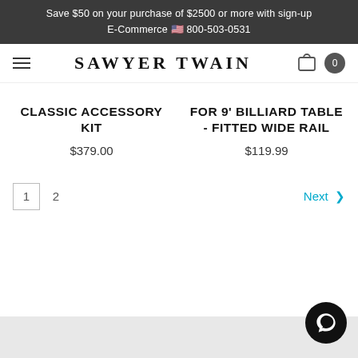Save $50 on your purchase of $2500 or more with sign-up E-Commerce 🇺🇸 800-503-0531
SAWYER TWAIN
CLASSIC ACCESSORY KIT $379.00
FOR 9' BILLIARD TABLE - FITTED WIDE RAIL $119.99
1
2
Next >